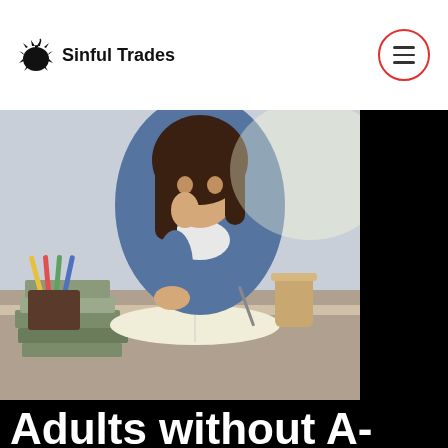Sinful Trades
[Figure (photo): A young woman studying at a desk with books, pencils, and a coffee cup, leaning on her hand while writing]
Adults without A-levels to be offered free college courses